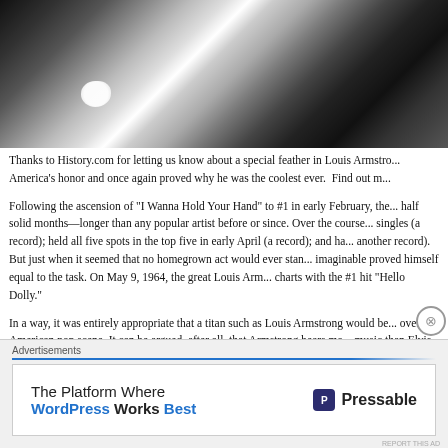[Figure (photo): Black and white close-up photograph, abstract grainy image with a bright white irregular shape visible in lower-left area against dark swirling tones]
Thanks to History.com for letting us know about a special feather in Louis Armstro... America's honor and once again proved why he was the coolest ever. Find out m...
Following the ascension of “I Wanna Hold Your Hand” to #1 in early February, the... half solid months—longer than any popular artist before or since. Over the course... singles (a record); held all five spots in the top five in early April (a record); and ha... another record). But just when it seemed that no homegrown act would ever stan... imaginable proved himself equal to the task. On May 9, 1964, the great Louis Arm... charts with the #1 hit “Hello Dolly.”
In a way, it was entirely appropriate that a titan such as Louis Armstrong would be... over the American pop scene. It can be argued, after all, that Armstrong bears mo... music than Elvis Presley and Frank Sinatra combined. Louis Armstrong beca...
Advertisements
[Figure (other): Pressable advertisement: 'The Platform Where WordPress Works Best' with Pressable logo on the right]